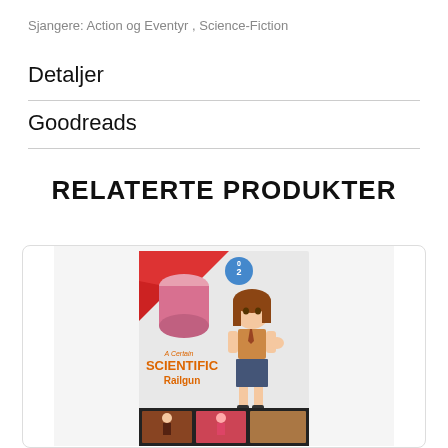Sjangere: Action og Eventyr , Science-Fiction
Detaljer
Goodreads
RELATERTE PRODUKTER
[Figure (photo): Manga book cover for 'A Certain Scientific Railgun' volume 02, featuring an anime girl in a school uniform with a male character in the background and action scenes at the bottom.]